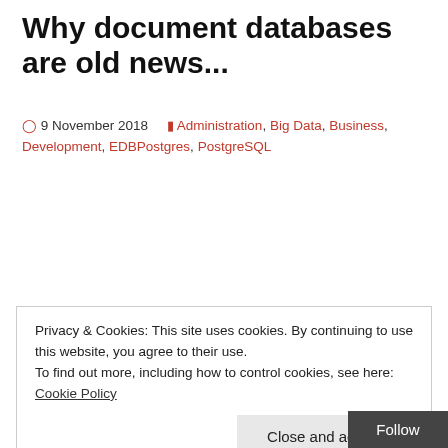Why document databases are old news...
9 November 2018   Administration, Big Data, Business, Development, EDBPostgres, PostgreSQL
Privacy & Cookies: This site uses cookies. By continuing to use this website, you agree to their use.
To find out more, including how to control cookies, see here: Cookie Policy
Close and accept
Follow
Taurani (@2andhalf_oracle) and myself had on Twit…